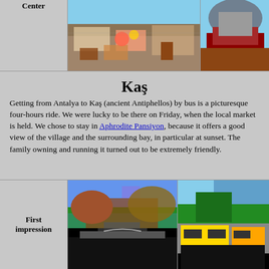[Figure (photo): Top row with label cell, street/cafe scene photo, and dome/building photo]
Kaş
Getting from Antalya to Kaş (ancient Antiphellos) by bus is a picturesque four-hours ride. We were lucky to be there on Friday, when the local market is held. We chose to stay in Aphrodite Pansiyon, because it offers a good view of the village and the surrounding bay, in particular at sunset. The family owning and running it turned out to be extremely friendly.
[Figure (photo): Bottom row with First impression label, mountain road photo, and taxi/tree photo]